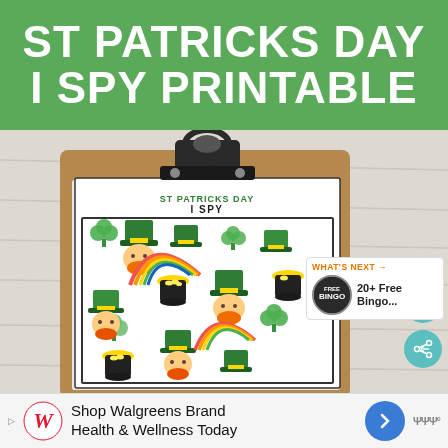ST PATRICKS DAY I SPY PRINTABLE
[Figure (photo): A clipboard on a white wood-grain surface holding a St Patricks Day I Spy printable sheet. The printable shows 'ST PATRICKS DAY I SPY' header with colorful illustrations of leprechauns, shamrocks, pots of gold, rainbows, and green top hats jumbled together. The clipboard has a metal clip at the top. UI elements visible: heart/like button, share button (both teal circles), a 'WHAT'S NEXT' panel showing '20+ Free Bingo...' text with a bingo card thumbnail.]
Shop Walgreens Brand Health & Wellness Today